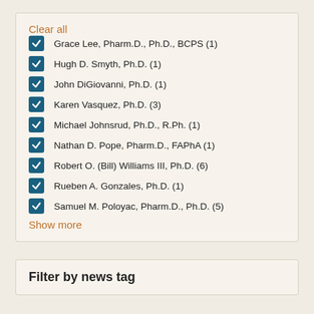Clear all
Grace Lee, Pharm.D., Ph.D., BCPS (1)
Hugh D. Smyth, Ph.D. (1)
John DiGiovanni, Ph.D. (1)
Karen Vasquez, Ph.D. (3)
Michael Johnsrud, Ph.D., R.Ph. (1)
Nathan D. Pope, Pharm.D., FAPhA (1)
Robert O. (Bill) Williams III, Ph.D. (6)
Rueben A. Gonzales, Ph.D. (1)
Samuel M. Poloyac, Pharm.D., Ph.D. (5)
Show more
Filter by news tag